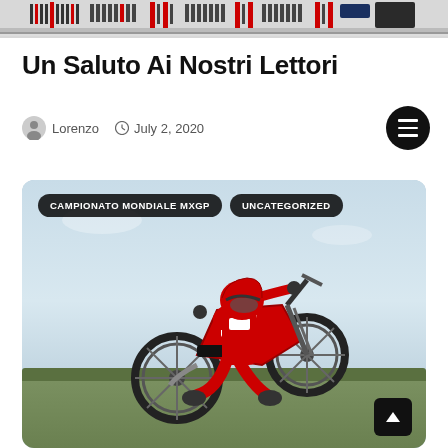[Figure (photo): Website header banner with repeating bar/stripe pattern in gray, red and black colors]
Un Saluto Ai Nostri Lettori
Lorenzo  July 2, 2020
[Figure (photo): Motocross rider on red dirt bike mid-air against light blue sky, with green landscape below. Two category tags overlay the top: CAMPIONATO MONDIALE MXGP and UNCATEGORIZED]